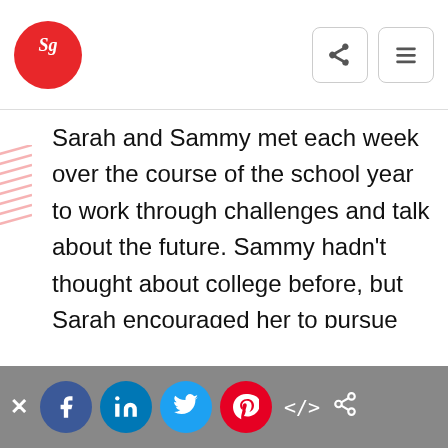Sg logo with share and menu icons
Sarah and Sammy met each week over the course of the school year to work through challenges and talk about the future. Sammy hadn't thought about college before, but Sarah encouraged her to pursue higher education and teaching. Sammy's passion for reading could open all kinds of doors and give her the opportunity to help others. Sarah is a teacher at a local elementary school and arranged for Sammy to shadow her in the classroom and even work with children in their after-school room.
Social share bar: x close, Facebook, LinkedIn, Twitter, Pinterest, embed code, link